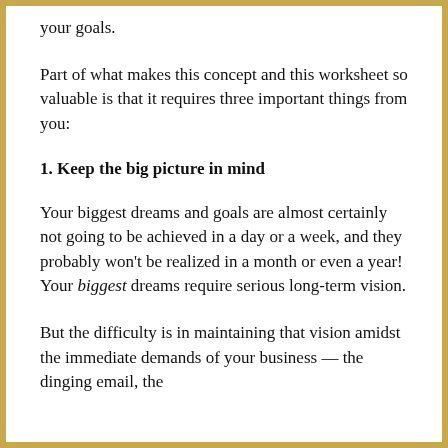your goals.
Part of what makes this concept and this worksheet so valuable is that it requires three important things from you:
1. Keep the big picture in mind
Your biggest dreams and goals are almost certainly not going to be achieved in a day or a week, and they probably won't be realized in a month or even a year! Your biggest dreams require serious long-term vision.
But the difficulty is in maintaining that vision amidst the immediate demands of your business — the dinging email, the